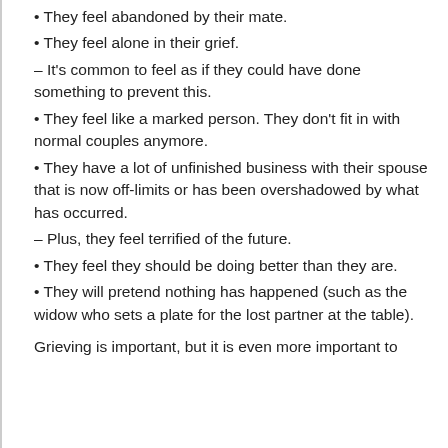• They feel abandoned by their mate.
• They feel alone in their grief.
– It's common to feel as if they could have done something to prevent this.
• They feel like a marked person. They don't fit in with normal couples anymore.
• They have a lot of unfinished business with their spouse that is now off-limits or has been overshadowed by what has occurred.
– Plus, they feel terrified of the future.
• They feel they should be doing better than they are.
• They will pretend nothing has happened (such as the widow who sets a plate for the lost partner at the table).
Grieving is important, but it is even more important to